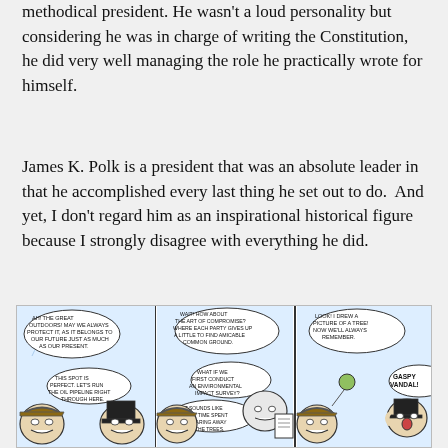methodical president. He wasn't a loud personality but considering he was in charge of writing the Constitution, he did very well managing the role he practically wrote for himself.
James K. Polk is a president that was an absolute leader in that he accomplished every last thing he set out to do.  And yet, I don't regard him as an inspirational historical figure because I strongly disagree with everything he did.
[Figure (illustration): A three-panel comic strip showing cartoon characters including a cowboy/politician figure and another character debating environmental topics. Speech bubbles include text about the great outdoors, oil pipelines, compromise, environmental impact surveys, drawing a picture of a tree, and 'GASPY VANDAL!']